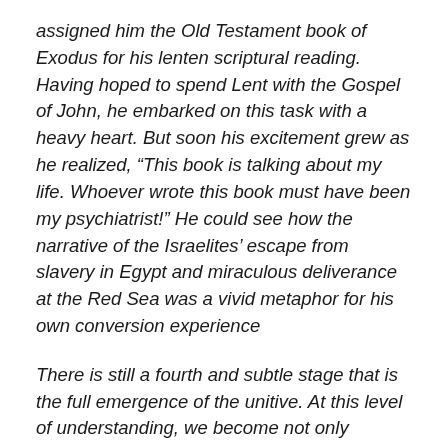assigned him the Old Testament book of Exodus for his lenten scriptural reading. Having hoped to spend Lent with the Gospel of John, he embarked on this task with a heavy heart. But soon his excitement grew as he realized, “This book is talking about my life. Whoever wrote this book must have been my psychiatrist!” He could see how the narrative of the Israelites’ escape from slavery in Egypt and miraculous deliverance at the Red Sea was a vivid metaphor for his own conversion experience
There is still a fourth and subtle stage that is the full emergence of the unitive. At this level of understanding, we become not only sensitive interpreters of the patterns but actually cocreators. The fifth-century Desert Father John Cassian once said he knew his monks had achieved this unitive stage when they sang the psalms as if they